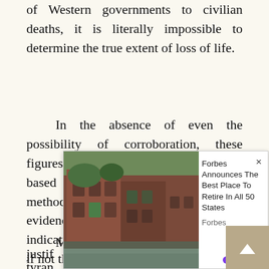of Western governments to civilian deaths, it is literally impossible to determine the true extent of loss of life.
In the absence of even the possibility of corroboration, these figures provide plausible estimates based on applying standard statistical methodology to the best, if scarce, evidence available. They give an indication of the scale of the destruction, if not the precise detail.
Much of this death has been justified as the fight against tyranny ... to the ... most people have no idea of the
[Figure (other): Advertisement overlay showing a photo of brick buildings near a canal, with text 'Forbes Announces The Best Place To Retire In All 50 States' and source 'Forbes', branded with PurpleAds. Close button (×) in top right.]